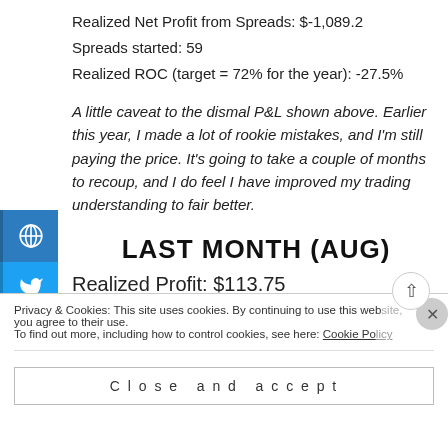Realized Net Profit from Spreads: $-1,089.2
Spreads started: 59
Realized ROC (target = 72% for the year): -27.5%
A little caveat to the dismal P&L shown above. Earlier this year, I made a lot of rookie mistakes, and I'm still paying the price. It's going to take a couple of months to recoup, and I do feel I have improved my trading understanding to fair better.
LAST MONTH (AUG)
Realized Profit: $113.75
Privacy & Cookies: This site uses cookies. By continuing to use this website, you agree to their use. To find out more, including how to control cookies, see here: Cookie Policy
Close and accept